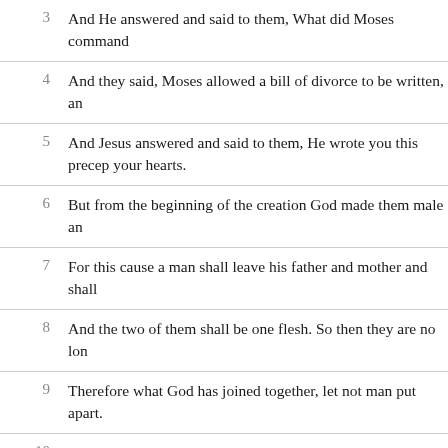3 And He answered and said to them, What did Moses command
4 And they said, Moses allowed a bill of divorce to be written, an
5 And Jesus answered and said to them, He wrote you this precep your hearts.
6 But from the beginning of the creation God made them male an
7 For this cause a man shall leave his father and mother and shall
8 And the two of them shall be one flesh. So then they are no lon
9 Therefore what God has joined together, let not man put apart.
10 And in the house His disciples asked Him again about the same
11 And He said to them, Whoever shall put away his wife and mar against her.